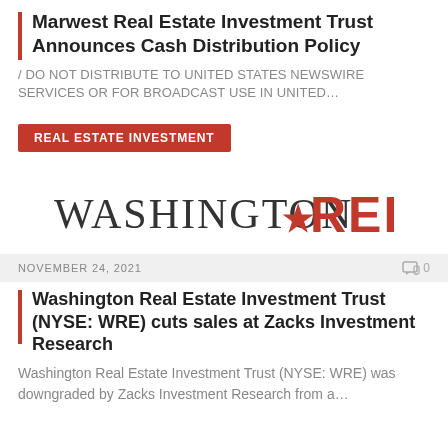Marwest Real Estate Investment Trust Announces Cash Distribution Policy
/ DO NOT DISTRIBUTE TO UNITED STATES NEWSWIRE SERVICES OR FOR BROADCAST USE IN UNITED…
REAL ESTATE INVESTMENT
[Figure (logo): Washington REIT logo with star between 'Washington' and 'REIT' in red]
NOVEMBER 24, 2021
Washington Real Estate Investment Trust (NYSE: WRE) cuts sales at Zacks Investment Research
Washington Real Estate Investment Trust (NYSE: WRE) was downgraded by Zacks Investment Research from a…